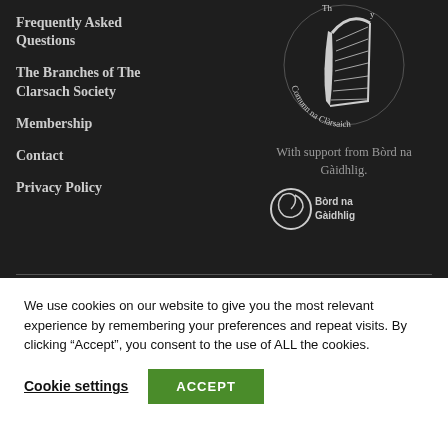Frequently Asked Questions
The Branches of The Clarsach Society
Membership
Contact
Privacy Policy
[Figure (logo): Comunn na Clàrsaich circular logo with harp illustration]
With support from Bòrd na Gàidhlig.
[Figure (logo): Bòrd na Gàidhlig logo with spiral and text]
We use cookies on our website to give you the most relevant experience by remembering your preferences and repeat visits. By clicking “Accept”, you consent to the use of ALL the cookies.
Cookie settings  ACCEPT